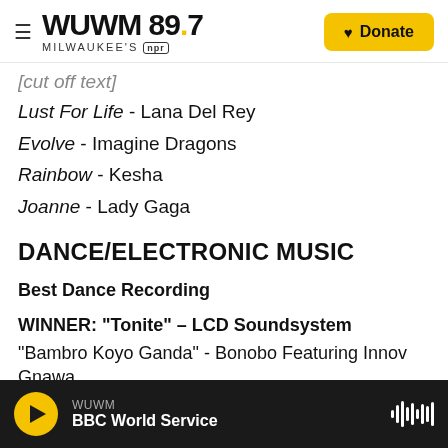WUWM 89.7 Milwaukee's NPR | Donate
[cut off] - [cut off]
Lust For Life - Lana Del Rey
Evolve - Imagine Dragons
Rainbow - Kesha
Joanne - Lady Gaga
DANCE/ELECTRONIC MUSIC
Best Dance Recording
WINNER: "Tonite" – LCD Soundsystem
"Bambro Koyo Ganda" - Bonobo Featuring Innov Gnawa
"Cola - CamelPhat & Elderbrook
WUWM | BBC World Service